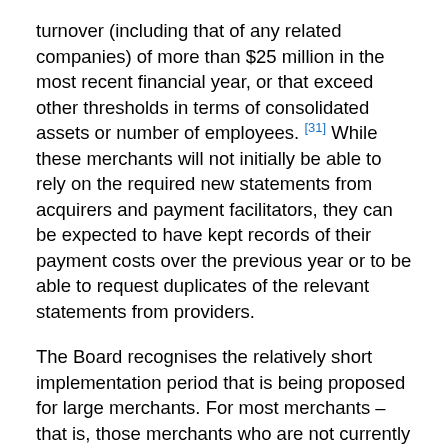turnover (including that of any related companies) of more than $25 million in the most recent financial year, or that exceed other thresholds in terms of consolidated assets or number of employees. [31] While these merchants will not initially be able to rely on the required new statements from acquirers and payment facilitators, they can be expected to have kept records of their payment costs over the previous year or to be able to request duplicates of the relevant statements from providers.
The Board recognises the relatively short implementation period that is being proposed for large merchants. For most merchants – that is, those merchants who are not currently surcharging or are surcharging at levels below the new permitted surcharge levels – the new framework will not require any action. However, in the case of the small number of